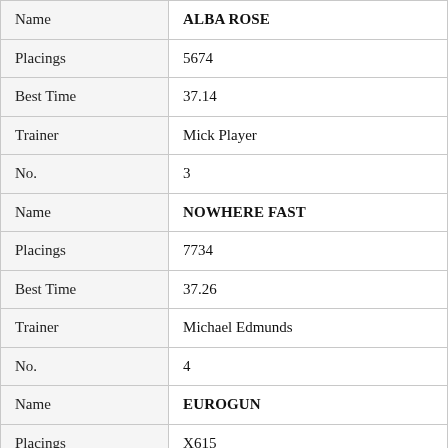| Field | Value |
| --- | --- |
| Name | ALBA ROSE |
| Placings | 5674 |
| Best Time | 37.14 |
| Trainer | Mick Player |
| No. | 3 |
| Name | NOWHERE FAST |
| Placings | 7734 |
| Best Time | 37.26 |
| Trainer | Michael Edmunds |
| No. | 4 |
| Name | EUROGUN |
| Placings | X615 |
| Best Time | 37.79 |
| Trainer | Aaron Williams |
| No. | 5 |
| Name | DO YOUR DANDER |
| Placings | 2363 |